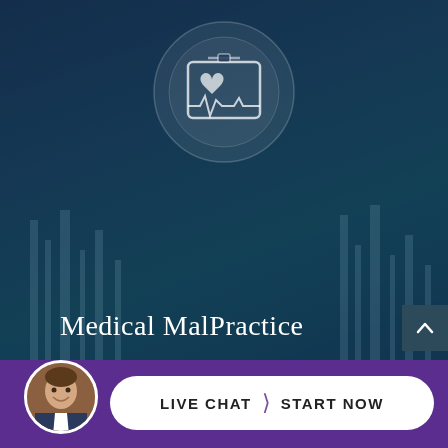[Figure (illustration): Circular medical icon showing a heart monitor / ECG connected to a clipboard or chart, rendered as white line art on a semi-transparent dark blue circular background, positioned at the top center of the page.]
Medical MalPractice
[Figure (infographic): Live chat widget at the bottom of the page. Purple background bar with a circular avatar photo of a smiling man in a suit (attorney). White pill-shaped button reading 'LIVE CHAT > START NOW' with a chevron/brace divider between the two phrases.]